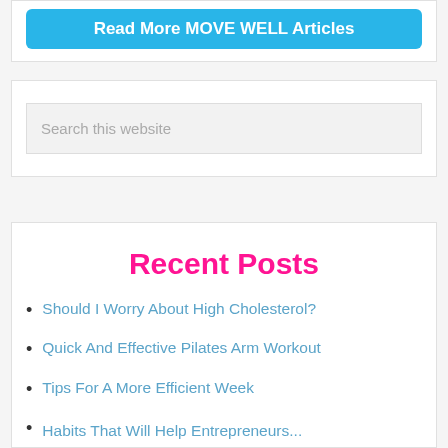[Figure (other): Blue button reading 'Read More MOVE WELL Articles']
Search this website
Recent Posts
Should I Worry About High Cholesterol?
Quick And Effective Pilates Arm Workout
Tips For A More Efficient Week
Habits That Will Help Entrepreneurs...